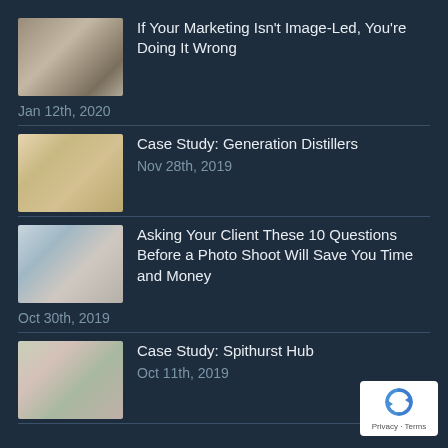If Your Marketing Isn't Image-Led, You're Doing It Wrong
Jan 12th, 2020
Case Study: Generation Distillers
Nov 28th, 2019
Asking Your Client These 10 Questions Before a Photo Shoot Will Save You Time and Money
Oct 30th, 2019
Case Study: Spithurst Hub
Oct 11th, 2019
[Figure (logo): reCAPTCHA badge with Privacy and Terms links]